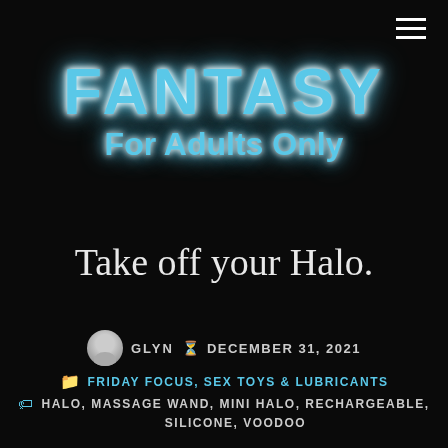[Figure (logo): Fantasy For Adults Only neon-style logo on black background]
Take off your Halo.
GLYN  DECEMBER 31, 2021
FRIDAY FOCUS, SEX TOYS & LUBRICANTS
HALO, MASSAGE WAND, MINI HALO, RECHARGEABLE, SILICONE, VOODOO